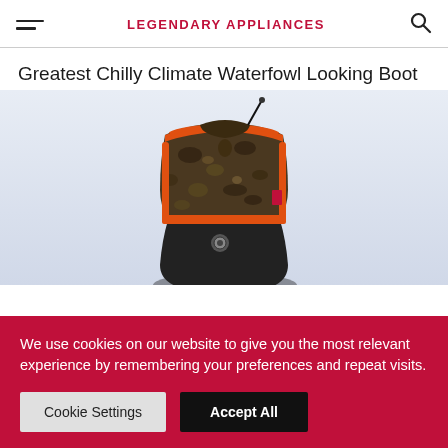LEGENDARY APPLIANCES
Greatest Chilly Climate Waterfowl Looking Boot
[Figure (photo): A close-up photo of a waterfowl hunting boot with camouflage pattern upper with orange trim, black neoprene lower section, and a buckle/strap fastening, photographed against a light gray/blue gradient background.]
We use cookies on our website to give you the most relevant experience by remembering your preferences and repeat visits.